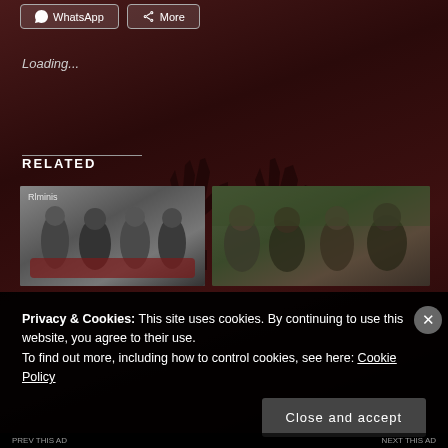[Figure (screenshot): Dark reddish concert background with silhouette of hands making rock signs]
WhatsApp  More
Loading...
RELATED
[Figure (photo): Black and white photo of a rock band posing on a red sofa]
[Figure (photo): Color photo of a rock band posing outdoors in dark clothing]
Privacy & Cookies: This site uses cookies. By continuing to use this website, you agree to their use.
To find out more, including how to control cookies, see here: Cookie Policy
Close and accept